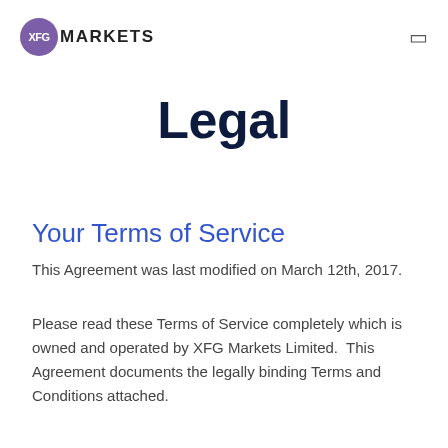XFG MARKETS
Legal
Your Terms of Service
This Agreement was last modified on March 12th, 2017.
Please read these Terms of Service completely which is owned and operated by XFG Markets Limited.  This Agreement documents the legally binding Terms and Conditions attached.